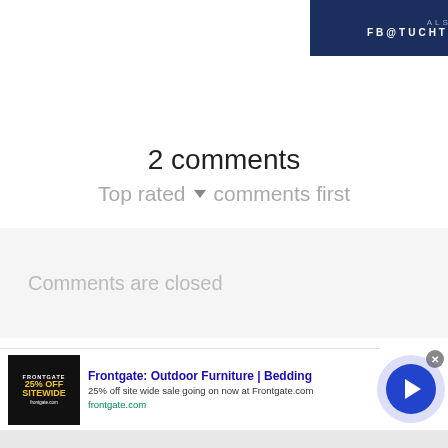[Figure (other): Dark navy banner with text 'ALSO ON' and 'FB@TUCHTHERAPEUTIC']
2 comments
Top rated ▾  comments first
Comments are closed
[Figure (other): Advertisement banner: Frontgate Outdoor Furniture Bedding, 25% off site wide sale going on now at Frontgate.com, frontgate.com]